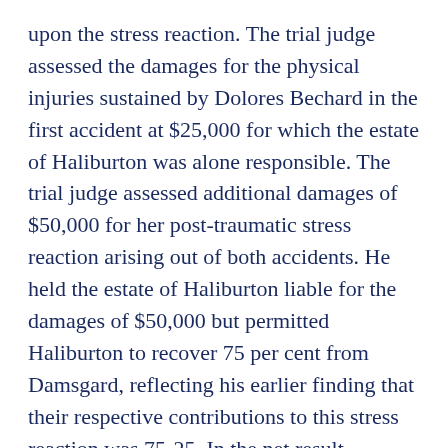upon the stress reaction. The trial judge assessed the damages for the physical injuries sustained by Dolores Bechard in the first accident at $25,000 for which the estate of Haliburton was alone responsible. The trial judge assessed additional damages of $50,000 for her post-traumatic stress reaction arising out of both accidents. He held the estate of Haliburton liable for the damages of $50,000 but permitted Haliburton to recover 75 per cent from Damsgard, reflecting his earlier finding that their respective contributions to this stress reaction was 75-25. In the net result, judgment was awarded against Haliburton for $25,000 plus $12,500 or a total of $37,500, plus pre-judgment interest and against Damsgard for $37,500 together with pre- judgment interest. Haliburton and Damsgard also had listed